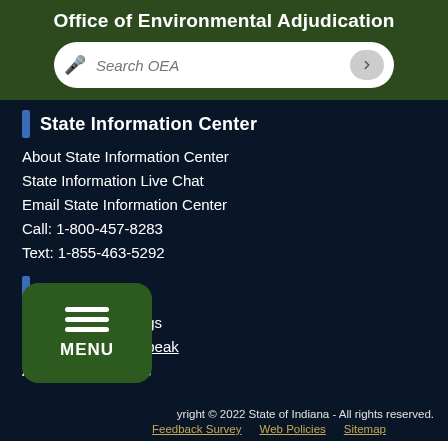Office of Environmental Adjudication
State Information Center
About State Information Center
State Information Live Chat
Email State Information Center
Call: 1-800-457-8283
Text: 1-855-463-5292
Web Tools
Accessibility Settings
Screen Reader - Speak
Accessibility Issues
Copyright © 2022 State of Indiana - All rights reserved. Feedback Survey   Web Policies   Sitemap